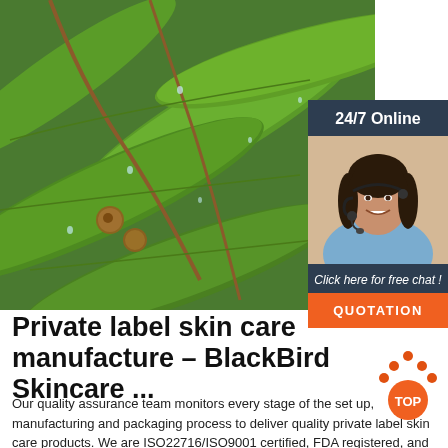[Figure (photo): Close-up photograph of green eucalyptus leaves with water droplets and small brown seed pods on branches]
[Figure (photo): Sidebar panel with dark navy background showing '24/7 Online' header, a woman with headset smiling, 'Click here for free chat!' text in italic, and an orange QUOTATION button]
Private label skin care manufacture – BlackBird Skincare ...
Our quality assurance team monitors every stage of the set up, manufacturing and packaging process to deliver quality private label skin care products. We are ISO22716/ISO9001 certified, FDA registered, and we stringently adhere to all
[Figure (logo): Orange 'TOP' badge/logo with arrow pointing up]